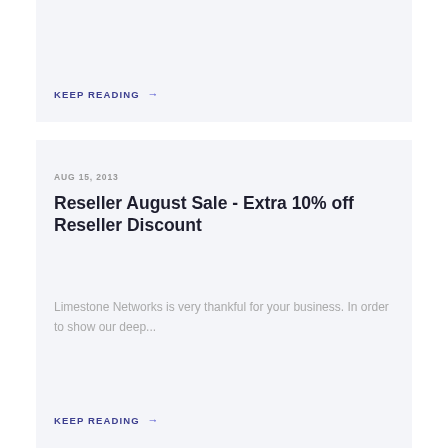KEEP READING →
AUG 15, 2013
Reseller August Sale - Extra 10% off Reseller Discount
Limestone Networks is very thankful for your business. In order to show our deep...
KEEP READING →